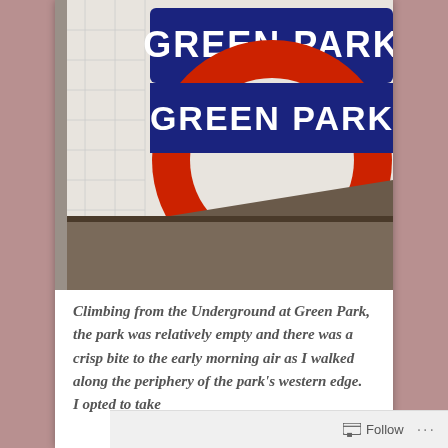[Figure (photo): Photo of the Green Park London Underground station sign — a classic roundel with a navy blue horizontal bar reading 'GREEN PARK' in white letters, and a large red circle ring on a light wall background, with dark panel at the bottom.]
Climbing from the Underground at Green Park, the park was relatively empty and there was a crisp bite to the early morning air as I walked along the periphery of the park's western edge.  I opted to take